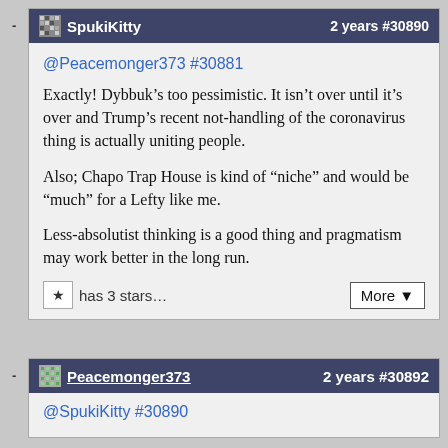SpukiKitty   2 years #30890
@Peacemonger373 #30881

Exactly! Dybbuk’s too pessimistic. It isn’t over until it’s over and Trump’s recent not-handling of the coronavirus thing is actually uniting people.

Also; Chapo Trap House is kind of “niche” and would be “much” for a Lefty like me.

Less-absolutist thinking is a good thing and pragmatism may work better in the long run.
has 3 stars...
Peacemonger373   2 years #30892
@SpukiKitty #30890